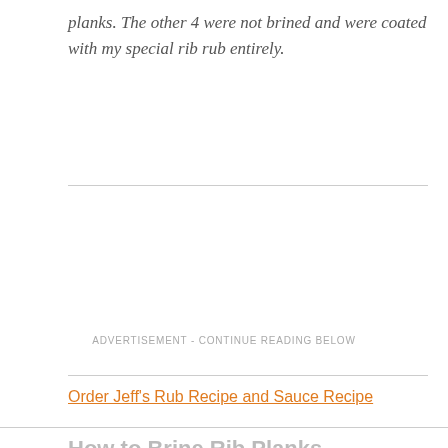planks. The other 4 were not brined and were coated with my special rib rub entirely.
ADVERTISEMENT - CONTINUE READING BELOW
Order Jeff's Rub Recipe and Sauce Recipe
How to Brine Rib Planks